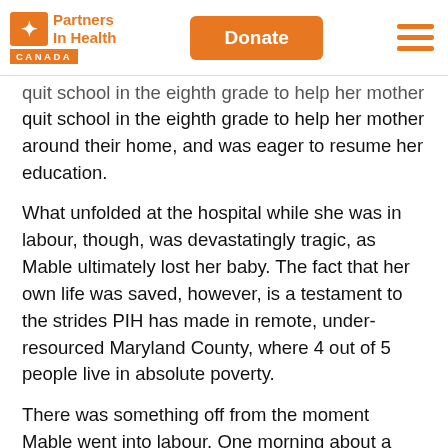Partners In Health Canada | Donate
quit school in the eighth grade to help her mother around their home, and was eager to resume her education.
What unfolded at the hospital while she was in labour, though, was devastatingly tragic, as Mable ultimately lost her baby. The fact that her own life was saved, however, is a testament to the strides PIH has made in remote, under-resourced Maryland County, where 4 out of 5 people live in absolute poverty.
There was something off from the moment Mable went into labour. One morning about a week before she reached full term, while Mable’s grandmother was away and her mother was at the market, Mable’s stomach felt far more tender than it should have. Her aunt, assuming she was